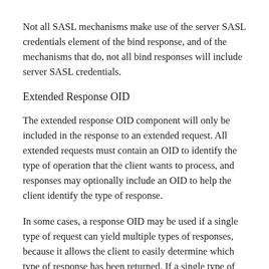Not all SASL mechanisms make use of the server SASL credentials element of the bind response, and of the mechanisms that do, not all bind responses will include server SASL credentials.
Extended Response OID
The extended response OID component will only be included in the response to an extended request. All extended requests must contain an OID to identify the type of operation that the client wants to process, and responses may optionally include an OID to help the client identify the type of response.
In some cases, a response OID may be used if a single type of request can yield multiple types of responses, because it allows the client to easily determine which type of response has been returned. If a single type of request can only return one type of response, then the